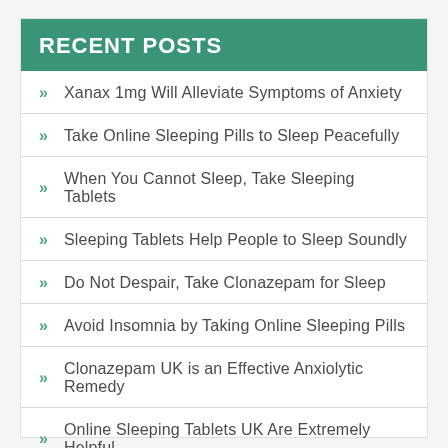RECENT POSTS
Xanax 1mg Will Alleviate Symptoms of Anxiety
Take Online Sleeping Pills to Sleep Peacefully
When You Cannot Sleep, Take Sleeping Tablets
Sleeping Tablets Help People to Sleep Soundly
Do Not Despair, Take Clonazepam for Sleep
Avoid Insomnia by Taking Online Sleeping Pills
Clonazepam UK is an Effective Anxiolytic Remedy
Online Sleeping Tablets UK Are Extremely Helpful